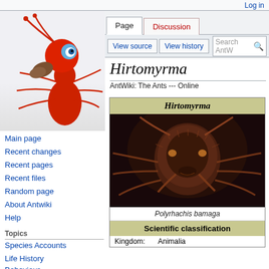Log in
[Figure (logo): AntWiki cartoon ant logo - red ant with blue eye carrying something]
Page | Discussion | View source | View history | Search AntW
Hirtomyrma
AntWiki: The Ants --- Online
Main page
Recent changes
Recent pages
Recent files
Random page
About Antwiki
Help
Topics
Species Accounts
Life History
Behaviour
Distribution & Diversity
Ant Societies
[Figure (photo): Close-up macro photograph of an ant (Polyrhachis bamaga) face/head showing detailed features including eyes, antennae, and mouthparts against dark background]
Polyrhachis bamaga
| Scientific classification |
| --- |
| Kingdom: | Animalia |